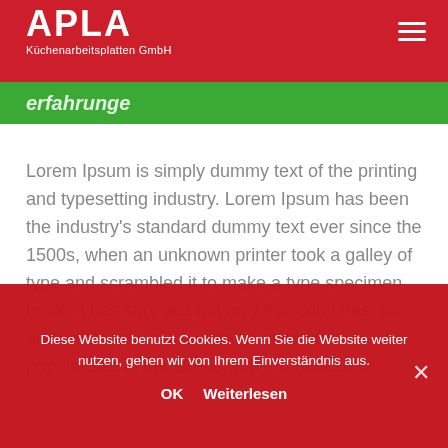APLA Küchenarbeitsplatten GmbH
erfahrunge
Lorem Ipsum is simply dummy text of the printing and typesetting industry. Lorem Ipsum has been the industry's standard dummy text ever since the 1500s, when an unknown printer took a galley of type and scrambled it to make a type specimen book. It has survived not only five centuries, but also the leap into essentially unchanged. It was popularised in the 1960s with the release of Letraset
Diese Website benutzt Cookies. Wenn Sie die Website weiter nutzen, gehen wir von Ihrem Einverständnis aus.
OK   Weiterlesen